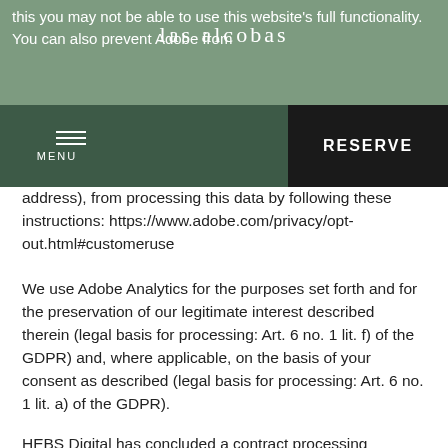this you may not be able to use this website's full functionality. You can also prevent Adobe from
las alcobas
address), from processing this data by following these instructions: https://www.adobe.com/privacy/opt-out.html#customeruse
We use Adobe Analytics for the purposes set forth and for the preservation of our legitimate interest described therein (legal basis for processing: Art. 6 no. 1 lit. f) of the GDPR) and, where applicable, on the basis of your consent as described (legal basis for processing: Art. 6 no. 1 lit. a) of the GDPR).
HEBS Digital has concluded a contract processing agreement with Adobe Systems Ireland, Limited to ensure that personal data is processed only on our